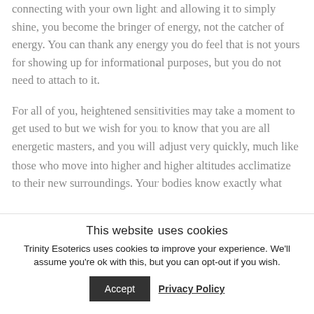connecting with your own light and allowing it to simply shine, you become the bringer of energy, not the catcher of energy. You can thank any energy you do feel that is not yours for showing up for informational purposes, but you do not need to attach to it.
For all of you, heightened sensitivities may take a moment to get used to but we wish for you to know that you are all energetic masters, and you will adjust very quickly, much like those who move into higher and higher altitudes acclimatize to their new surroundings. Your bodies know exactly what
This website uses cookies
Trinity Esoterics uses cookies to improve your experience. We'll assume you're ok with this, but you can opt-out if you wish.
Accept
Privacy Policy